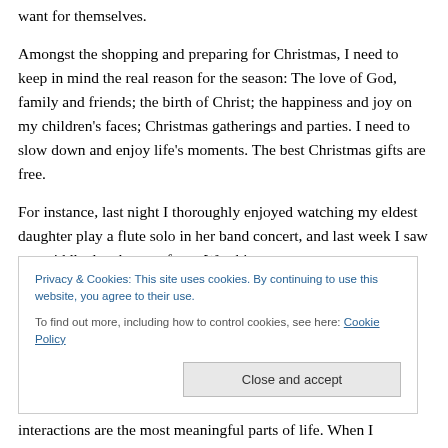want for themselves.
Amongst the shopping and preparing for Christmas, I need to keep in mind the real reason for the season: The love of God, family and friends; the birth of Christ; the happiness and joy on my children's faces; Christmas gatherings and parties. I need to slow down and enjoy life's moments. The best Christmas gifts are free.
For instance, last night I thoroughly enjoyed watching my eldest daughter play a flute solo in her band concert, and last week I saw my middle daughter perform. Watching
Privacy & Cookies: This site uses cookies. By continuing to use this website, you agree to their use.
To find out more, including how to control cookies, see here: Cookie Policy
interactions are the most meaningful parts of life. When I